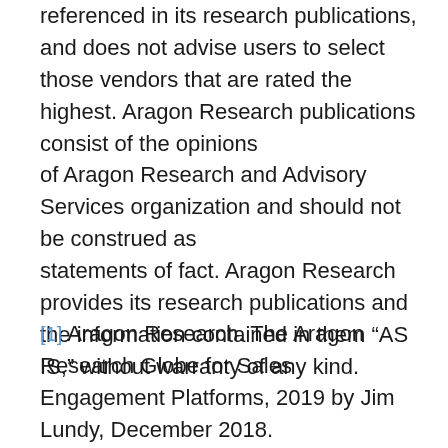referenced in its research publications, and does not advise users to select those vendors that are rated the highest. Aragon Research publications consist of the opinions of Aragon Research and Advisory Services organization and should not be construed as statements of fact. Aragon Research provides its research publications and the information contained in them “AS IS,” without warranty of any kind.
[1] Aragon Research. The Aragon Research Globe for Sales Engagement Platforms, 2019 by Jim Lundy, December 2018.